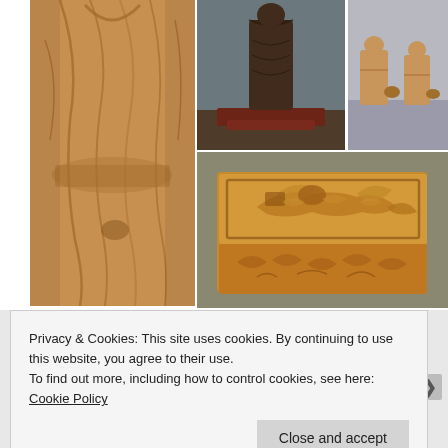[Figure (photo): Close-up of a wooden carved figure in kimono/robe, warm tan wood tones, left side large photo]
[Figure (photo): Wooden carved standing figure on a red base, dark background, top center photo]
[Figure (photo): Two small wooden carved figures with baskets, outdoor setting, with 'artrada' text overlay, top right photo]
[Figure (photo): Ornate wooden carved box with dragon/phoenix reliefs on lid and floral designs on sides, bottom right large photo]
Privacy & Cookies: This site uses cookies. By continuing to use this website, you agree to their use.
To find out more, including how to control cookies, see here: Cookie Policy
Close and accept